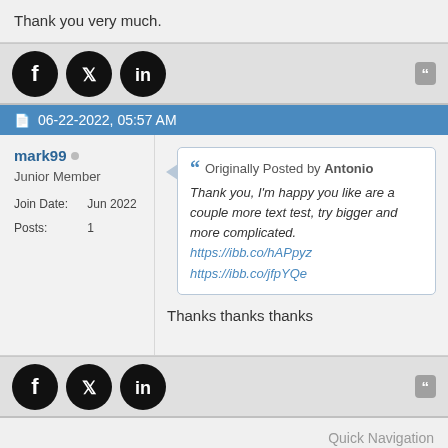Thank you very much.
[Figure (other): Social share icons: Facebook, Twitter, LinkedIn in black circles; quote button top right]
06-22-2022, 05:57 AM
mark99
Junior Member
Join Date: Jun 2022
Posts: 1
Originally Posted by Antonio
Thank you, I'm happy you like are a couple more text test, try bigger and more complicated.
https://ibb.co/hAPpyz
https://ibb.co/jfpYQe
Thanks thanks thanks
[Figure (other): Social share icons: Facebook, Twitter, LinkedIn in black circles; quote button top right]
Quick Navigation